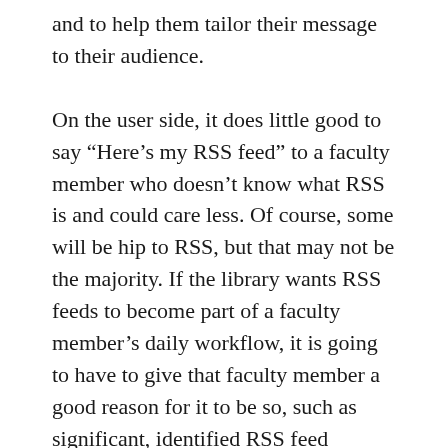and to help them tailor their message to their audience.
On the user side, it does little good to say "Here’s my RSS feed" to a faculty member who doesn’t know what RSS is and could care less. Of course, some will be hip to RSS, but that may not be the majority. If the library wants RSS feeds to become part of a faculty member’s daily workflow, it is going to have to give that faculty member a good reason for it to be so, such as significant, identified RSS feed content in the faculty member’s field. Then, it is going to have to help the faculty member with the RSS transition by pointing out good RSS readers, providing tactful instruction, and